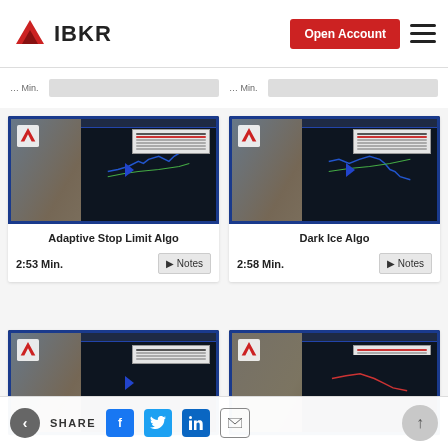IBKR
[Figure (screenshot): Thumbnail screenshot of IBKR trading platform showing Adaptive Stop Limit Algo video]
Adaptive Stop Limit Algo
2:53 Min.
Notes
[Figure (screenshot): Thumbnail screenshot of IBKR trading platform showing Dark Ice Algo video]
Dark Ice Algo
2:58 Min.
Notes
[Figure (screenshot): Partial thumbnail screenshot of IBKR trading platform (third video card, partially visible)]
[Figure (screenshot): Partial thumbnail screenshot of IBKR trading platform (fourth video card, partially visible)]
SHARE